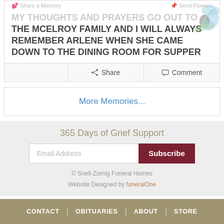MY THOUGHTS AND PRAYERS GO OUT TO THE MCELROY FAMILY AND I WILL ALWAYS REMEMBER ARLENE WHEN SHE CAME DOWN TO THE DINING ROOM FOR SUPPER
Share  Comment
More Memories...
365 Days of Grief Support
Email Address  Subscribe
© Snell-Zornig Funeral Homes
Website Designed by funeralOne
CONTACT  |  OBITUARIES  |  ABOUT  |  STORE